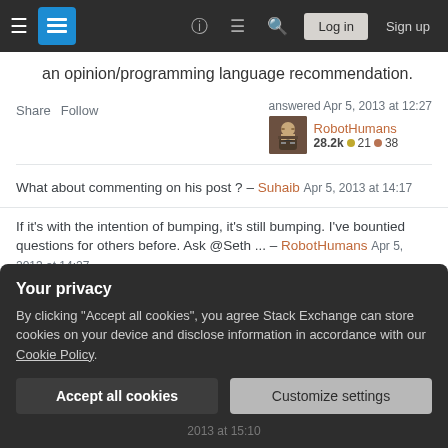Stack Exchange navigation bar with hamburger menu, logo, help, chat, search icons, Log in and Sign up buttons
an opinion/programming language recommendation.
Share  Follow   answered Apr 5, 2013 at 12:27   RobotHumans  28.2k  21  38
What about commenting on his post ? – Suhaib Apr 5, 2013 at 14:17
If it's with the intention of bumping, it's still bumping. I've bountied questions for others before. Ask @Seth ... – RobotHumans Apr 5, 2013 at 14:27
Your privacy
By clicking "Accept all cookies", you agree Stack Exchange can store cookies on your device and disclose information in accordance with our Cookie Policy.
Accept all cookies   Customize settings